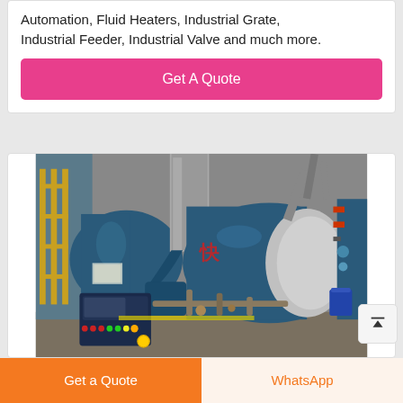Automation, Fluid Heaters, Industrial Grate, Industrial Feeder, Industrial Valve and much more.
Get A Quote
[Figure (photo): Industrial boiler/heater equipment in a factory setting, showing large blue cylindrical vessels with piping, a burner assembly, and control panel with indicator lights. Chinese characters visible on the equipment.]
Get a Quote
WhatsApp